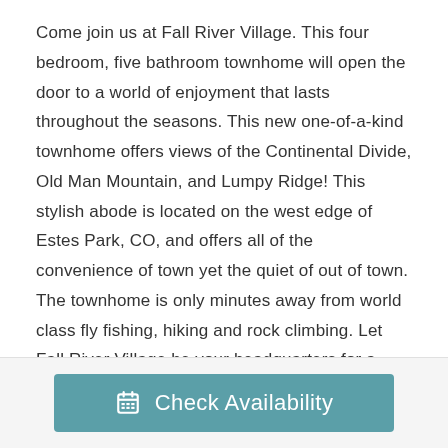Come join us at Fall River Village. This four bedroom, five bathroom townhome will open the door to a world of enjoyment that lasts throughout the seasons. This new one-of-a-kind townhome offers views of the Continental Divide, Old Man Mountain, and Lumpy Ridge! This stylish abode is located on the west edge of Estes Park, CO, and offers all of the convenience of town yet the quiet of out of town. The townhome is only minutes away from world class fly fishing, hiking and rock climbing. Let Fall River Village be your headquarters for a family vacation, a romantic honeymoon, or a gathering with friends. It offers fully equipped features: full-size kitchen appliances with silverware, dishes, pots and pans, gas fireplace, smart televisions in the living room and bedrooms, and free fiber wifi. This townhome has 4 bedrooms and 4.5
Check Availability